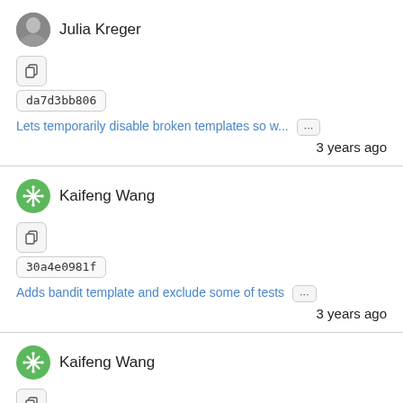Julia Kreger
da7d3bb806
Lets temporarily disable broken templates so w...
3 years ago
Kaifeng Wang
30a4e0981f
Adds bandit template and exclude some of tests
3 years ago
Kaifeng Wang
686a64b08e